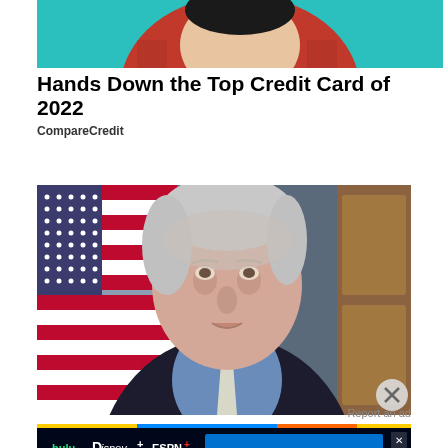[Figure (photo): Top portion of an advertisement image showing a person in a red/orange sweater against a teal background, partially visible]
Hands Down the Top Credit Card of 2022
CompareCredit
[Figure (photo): Photo of an elderly man with white hair wearing a dark suit and light blue shirt with a white tie, standing in front of an American flag. A close (X) button is visible in the lower right corner of the image.]
Report an ad
[Figure (other): Disney Bundle advertisement banner showing Hulu, Disney+, and ESPN+ logos on a dark blue background with a 'GET THE DISNEY BUNDLE' call-to-action button in blue, with disclaimer text: 'Incl. Hulu (ad-supported) or Hulu (No Ads). Access content from each service separately. ©2021 Disney and its related entities']